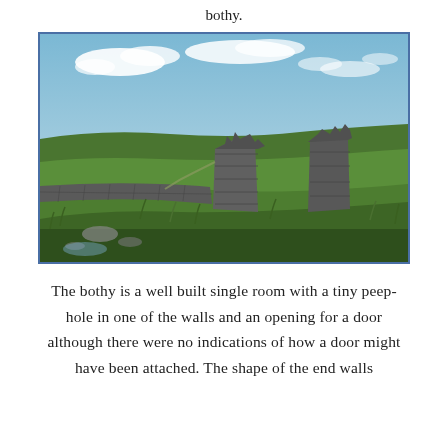bothy.
[Figure (photo): Photograph of ruins of a stone bothy on open moorland. A partially collapsed dry-stone wall runs across the foreground left, with two partially standing ruined stone walls/pillars to the right. Green grass and moorland extend behind, with a plateau edge visible on the horizon under a partly cloudy blue sky.]
The bothy is a well built single room with a tiny peep-hole in one of the walls and an opening for a door although there were no indications of how a door might have been attached. The shape of the end walls